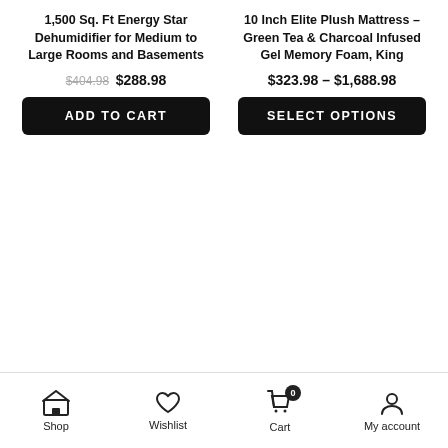1,500 Sq. Ft Energy Star Dehumidifier for Medium to Large Rooms and Basements
$404.98  $288.98
ADD TO CART
10 Inch Elite Plush Mattress – Green Tea & Charcoal Infused Gel Memory Foam, King
$323.98 – $1,688.98
SELECT OPTIONS
Shop  Wishlist  Cart 0  My account